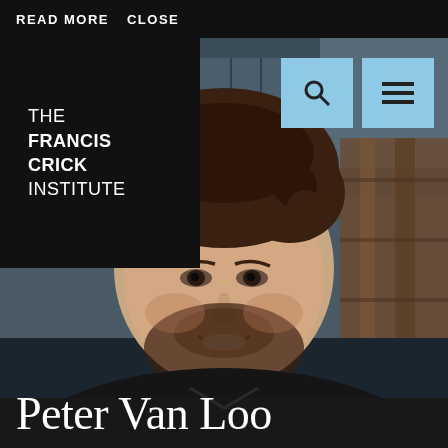READ MORE   CLOSE
[Figure (logo): The Francis Crick Institute logo — white text on black background reading THE FRANCIS CRICK INSTITUTE]
[Figure (photo): Portrait photograph of Peter Van Loo, a man with curly dark hair and a beard, smiling, wearing a dark shirt, in an interior setting with glass and concrete architecture visible in the background]
Peter Van Loo